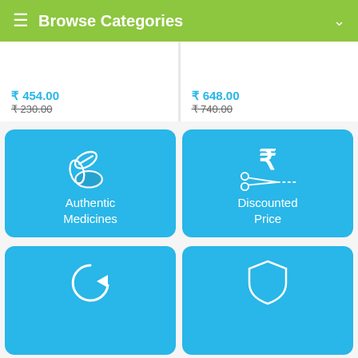Browse Categories
₹454.00  ₹230.00
₹648.00  ₹740.00
[Figure (illustration): Authentic Medicines category card with pill and tablet icon on cyan background]
[Figure (illustration): Discounted Price category card with rupee symbol and scissors icon on cyan background]
[Figure (illustration): Bottom left category card with return/refresh icon on cyan background]
[Figure (illustration): Bottom right category card with shield icon on cyan background]